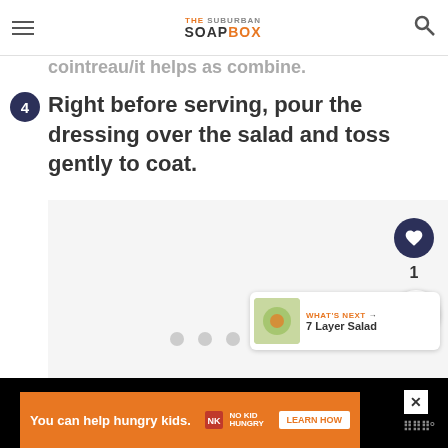THE SUBURBAN SOAPBOX
cointreau/it helps as combine.
4 Right before serving, pour the dressing over the salad and toss gently to coat.
[Figure (photo): Empty white/light gray image placeholder area for recipe photo]
WHAT'S NEXT → 7 Layer Salad
[Figure (infographic): Orange advertisement banner: You can help hungry kids. No Kid Hungry. LEARN HOW]